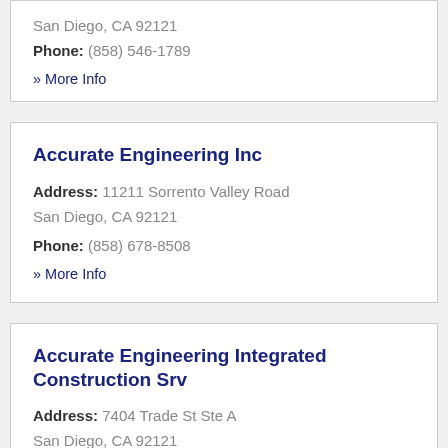San Diego, CA 92121
Phone: (858) 546-1789
» More Info
Accurate Engineering Inc
Address: 11211 Sorrento Valley Road San Diego, CA 92121
Phone: (858) 678-8508
» More Info
Accurate Engineering Integrated Construction Srv
Address: 7404 Trade St Ste A San Diego, CA 92121